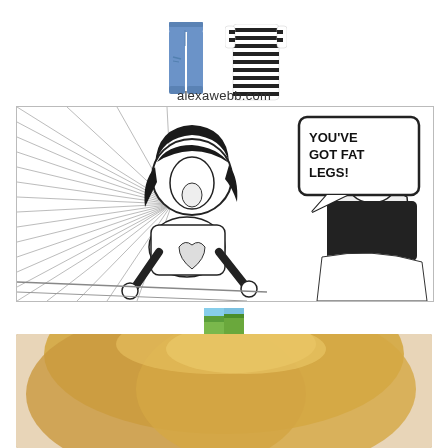[Figure (photo): Fashion collage showing blue distressed jeans and a black-and-white striped dress top on white background]
alexawebb.com
[Figure (illustration): Black and white manga panel showing a girl with short black hair in a t-shirt with a heart, looking shocked, with speed lines radiating behind her. A speech bubble reads 'YOU'VE GOT FAT LEGS!' Another figure is seen from behind on the right.]
[Figure (photo): Small icon image, appears to be a landscape/nature thumbnail]
[Figure (photo): Bottom portion showing blonde hair against a light background]